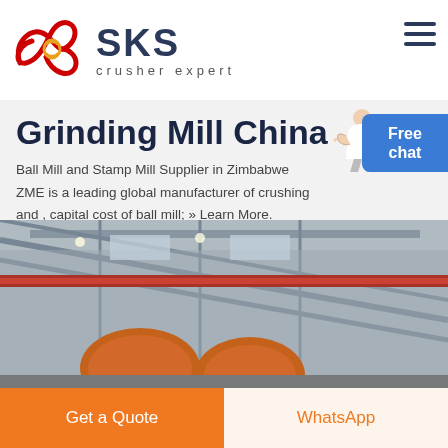[Figure (logo): SKS crusher expert logo with red swirl graphic and dark blue SKS text]
Grinding Mill China
Ball Mill and Stamp Mill Supplier in Zimbabwe ZME is a leading global manufacturer of crushing and , capital cost of ball mill; » Learn More.
[Figure (photo): Industrial factory interior with large machinery, steel beams, and orange equipment]
LIVE CHAT
Get a Quote
WhatsApp